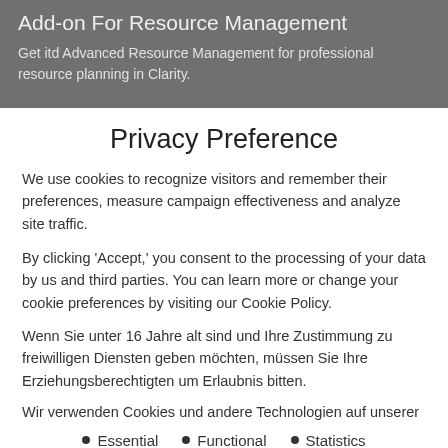Add-on For Resource Management
Get itd Advanced Resource Management for professional resource planning in Clarity.
Privacy Preference
We use cookies to recognize visitors and remember their preferences, measure campaign effectiveness and analyze site traffic.
By clicking 'Accept,' you consent to the processing of your data by us and third parties. You can learn more or change your cookie preferences by visiting our Cookie Policy.
Wenn Sie unter 16 Jahre alt sind und Ihre Zustimmung zu freiwilligen Diensten geben möchten, müssen Sie Ihre Erziehungsberechtigten um Erlaubnis bitten.
Wir verwenden Cookies und andere Technologien auf unserer
Essential
Functional
Statistics
Accept